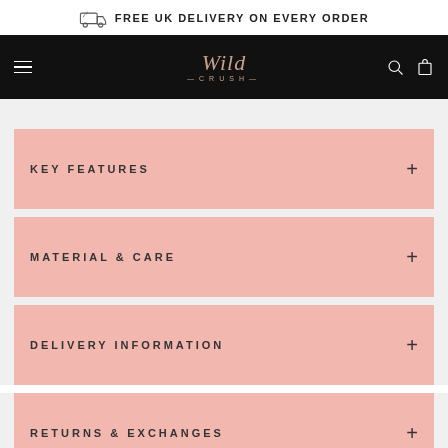FREE UK DELIVERY ON EVERY ORDER
[Figure (logo): Wild Crush brand logo in cursive rose-gold on black background with navigation icons]
KEY FEATURES
MATERIAL & CARE
DELIVERY INFORMATION
RETURNS & EXCHANGES
[Figure (illustration): Trusted Shops badge with 4.30 rating and star icons]
Chat with us